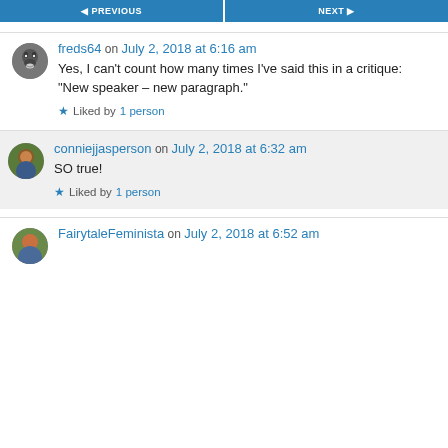[Figure (other): Navigation buttons: PREVIOUS and NEXT in blue]
freds64 on July 2, 2018 at 6:16 am
Yes, I can't count how many times I've said this in a critique: “New speaker – new paragraph.”
Liked by 1 person
conniejjasperson on July 2, 2018 at 6:32 am
SO true!
Liked by 1 person
FairytaleFeminista on July 2, 2018 at 6:52 am